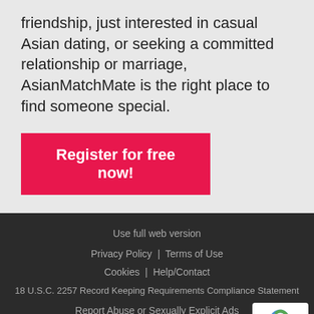friendship, just interested in casual Asian dating, or seeking a committed relationship or marriage, AsianMatchMate is the right place to find someone special.
Register for free now!
Use full web version
Privacy Policy  |  Terms of Use
Cookies  |  Help/Contact
18 U.S.C. 2257 Record Keeping Requirements Compliance Statement
Report Abuse or Sexually Explicit Ads
English
Questions? Call us: (669)208-0363
This website is operated in the US by Various, Inc. at 1615 S. Co Avenue, Suite 103, Delray Beach, Florida 33445; in the EU by V Enterprise Limited At Quatre House, Suite 1175 Lyon Wa Erimley Rea